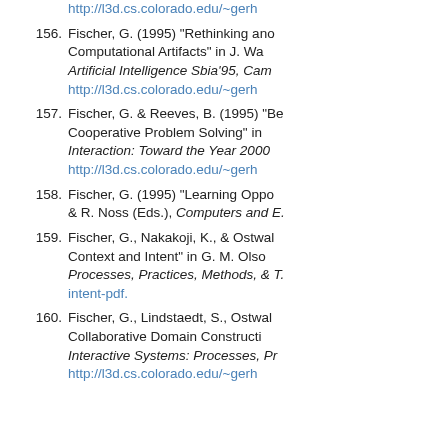http://l3d.cs.colorado.edu/~gerh... (partial URL, top of page, item 155 continuation)
156. Fischer, G. (1995) "Rethinking and Reinventing Support for Computational Artifacts" in J. Wa... Artificial Intelligence Sbia'95, Cam... http://l3d.cs.colorado.edu/~gerh
157. Fischer, G. & Reeves, B. (1995) "Be... Cooperative Problem Solving" in Interaction: Toward the Year 2000... http://l3d.cs.colorado.edu/~gerh
158. Fischer, G. (1995) "Learning Oppo... & R. Noss (Eds.), Computers and E...
159. Fischer, G., Nakakoji, K., & Ostwal... Context and Intent" in G. M. Olso... Processes, Practices, Methods, & T... intent-pdf.
160. Fischer, G., Lindstaedt, S., Ostwal... Collaborative Domain Constructi... Interactive Systems: Processes, Pr... http://l3d.cs.colorado.edu/~gerh